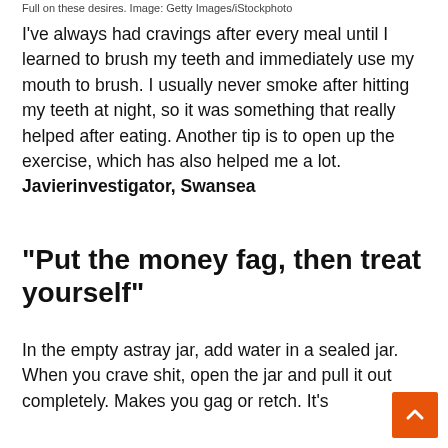Full on these desires. Image: Getty Images/iStockphoto
I've always had cravings after every meal until I learned to brush my teeth and immediately use my mouth to brush. I usually never smoke after hitting my teeth at night, so it was something that really helped after eating. Another tip is to open up the exercise, which has also helped me a lot. Javierinvestigator, Swansea
“Put the money fag, then treat yourself”
In the empty astray jar, add water in a sealed jar. When you crave shit, open the jar and pull it out completely. Makes you gag or retch. It’s